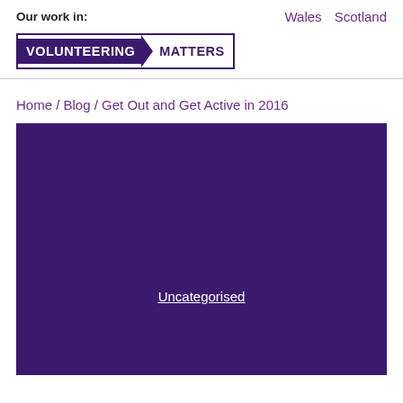Our work in:   Wales   Scotland
[Figure (logo): Volunteering Matters logo — white text on dark purple background with arrow shape between words, bordered box]
Home / Blog / Get Out and Get Active in 2016
[Figure (photo): Large dark purple/maroon hero image with 'Uncategorised' link text centered lower portion]